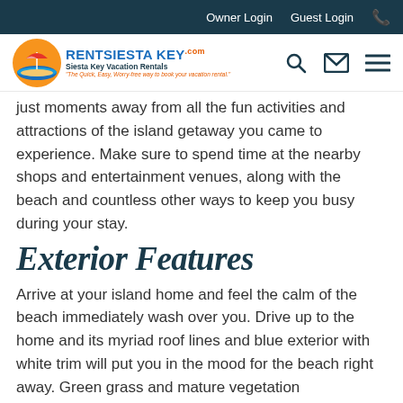Owner Login  Guest Login  📞
[Figure (logo): RentSiestaKey.com logo with orange and blue circular beach graphic and text 'Siesta Key Vacation Rentals']
just moments away from all the fun activities and attractions of the island getaway you came to experience. Make sure to spend time at the nearby shops and entertainment venues, along with the beach and countless other ways to keep you busy during your stay.
Exterior Features
Arrive at your island home and feel the calm of the beach immediately wash over you. Drive up to the home and its myriad roof lines and blue exterior with white trim will put you in the mood for the beach right away. Green grass and mature vegetation